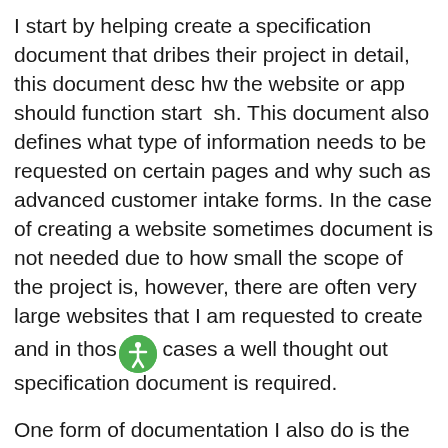I start by helping create a specification document that describes their project in detail, this document describes how the website or app should function start to finish. This document also defines what type of information needs to be requested on certain pages and why such as advanced customer intake forms. In the case of creating a website sometimes document is not needed due to how small the scope of the project is, however, there are often very large websites that I am requested to create and in those cases a well thought out specification document is required.
One form of documentation I also do is the type of specification document used to create an RFP. Any specification document created should describe what type of technologies used, who the intended audience is, and several use case scenarios of how a user will use the system created.